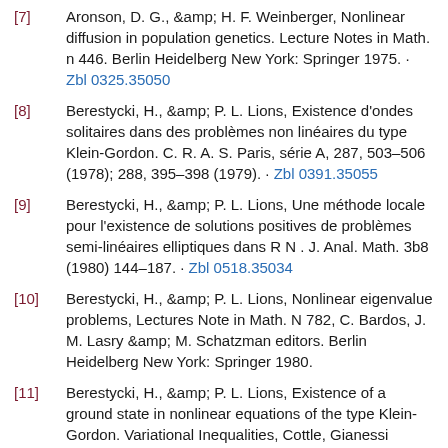[7] Aronson, D. G., &amp; H. F. Weinberger, Nonlinear diffusion in population genetics. Lecture Notes in Math. n 446. Berlin Heidelberg New York: Springer 1975. · Zbl 0325.35050
[8] Berestycki, H., &amp; P. L. Lions, Existence d'ondes solitaires dans des problèmes non linéaires du type Klein-Gordon. C. R. A. S. Paris, série A, 287, 503–506 (1978); 288, 395–398 (1979). · Zbl 0391.35055
[9] Berestycki, H., &amp; P. L. Lions, Une méthode locale pour l'existence de solutions positives de problèmes semi-linéaires elliptiques dans R N . J. Anal. Math. 3b8 (1980) 144–187. · Zbl 0518.35034
[10] Berestycki, H., &amp; P. L. Lions, Nonlinear eigenvalue problems, Lectures Note in Math. N 782, C. Bardos, J. M. Lasry &amp; M. Schatzman editors. Berlin Heidelberg New York: Springer 1980.
[11] Berestycki, H., &amp; P. L. Lions, Existence of a ground state in nonlinear equations of the type Klein-Gordon. Variational Inequalities, Cottle, Gianessi &amp; Lions editors. New York: J. Wiley 1979.
[12] Berestycki, H., &amp; P. L. Lions, Existence of stationary states of nonlinear scalar field equations.